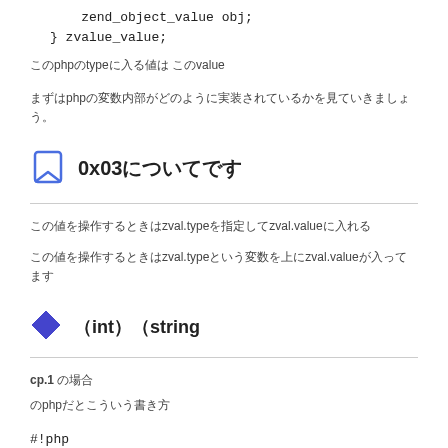zend_object_value obj;
} zvalue_value;
このphpのtypeに入る値は このvalue
まずはphpの変数内部がどのように実装されているかを見ていきましょう。
0x03についてです
この値を操作するときはzval.typeを指定してzval.valueに入れる
この値を操作するときはzval.typeという変数を上にzval.valueが入ってます
（int）（string
cp.1 の場合
のphpだとこういう書き方
#!php